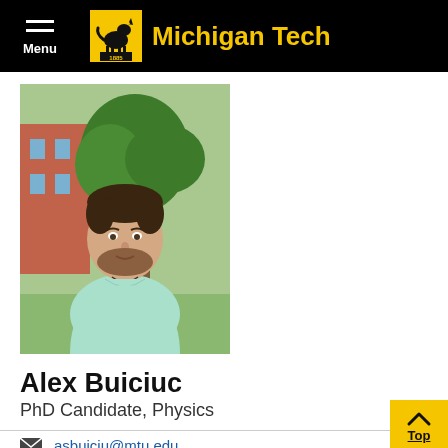Menu | Michigan Tech
[Figure (photo): Headshot of Alex Buiciuc, a young man with dark hair and beard wearing a light green/mint t-shirt, standing outdoors in front of a tree and brick building.]
Alex Buiciuc
PhD Candidate, Physics
asbuiciu@mtu.edu
EERC 719